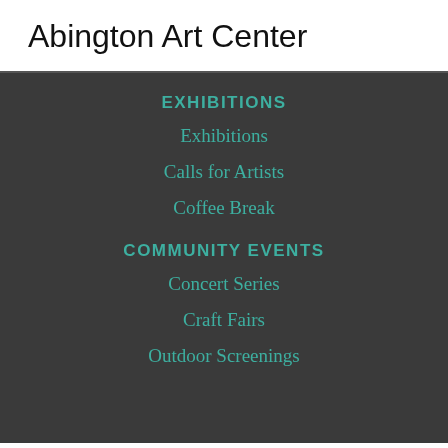Abington Art Center
EXHIBITIONS
Exhibitions
Calls for Artists
Coffee Break
COMMUNITY EVENTS
Concert Series
Craft Fairs
Outdoor Screenings